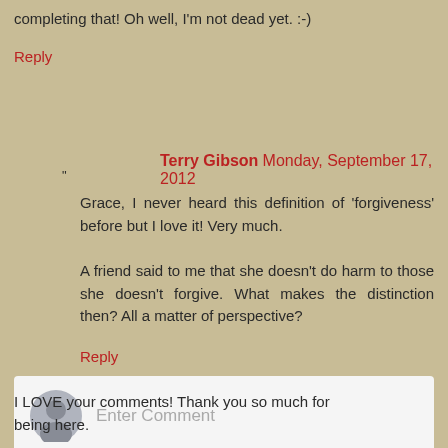completing that! Oh well, I'm not dead yet. :-)
Reply
Terry Gibson Monday, September 17, 2012
Grace, I never heard this definition of 'forgiveness' before but I love it! Very much.

A friend said to me that she doesn't do harm to those she doesn't forgive. What makes the distinction then? All a matter of perspective?
Reply
[Figure (other): Comment input box with avatar icon and 'Enter Comment' placeholder text]
I LOVE your comments! Thank you so much for being here.